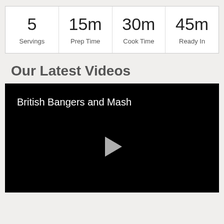| 5
Servings | 15m
Prep Time | 30m
Cook Time | 45m
Ready In |
Our Latest Videos
[Figure (screenshot): Video player with black background showing title 'British Bangers and Mash' and a play button in the center]